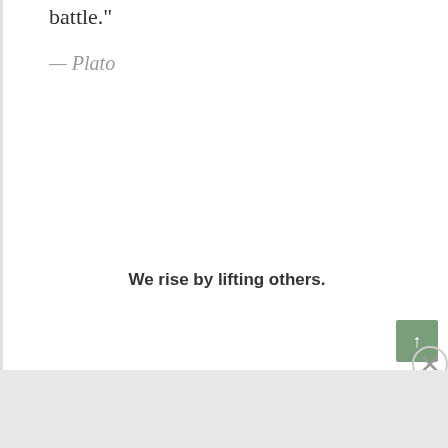battle."
— Plato
We rise by lifting others.
[Figure (other): Green scroll-to-top button with upward arrow]
[Figure (other): Close/X button circle icon]
Advertisements
[Figure (other): WordPress.com advertisement banner with Build Your Website button]